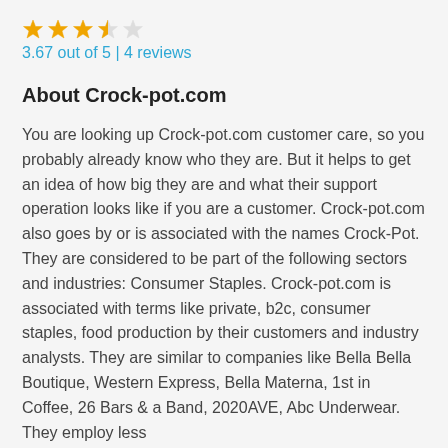[Figure (other): Star rating display: 3 full gold stars, 1 half star, 1 empty star]
3.67 out of 5 | 4 reviews
About Crock-pot.com
You are looking up Crock-pot.com customer care, so you probably already know who they are. But it helps to get an idea of how big they are and what their support operation looks like if you are a customer. Crock-pot.com also goes by or is associated with the names Crock-Pot. They are considered to be part of the following sectors and industries: Consumer Staples. Crock-pot.com is associated with terms like private, b2c, consumer staples, food production by their customers and industry analysts. They are similar to companies like Bella Bella Boutique, Western Express, Bella Materna, 1st in Coffee, 26 Bars & a Band, 2020AVE, Abc Underwear. They employ less